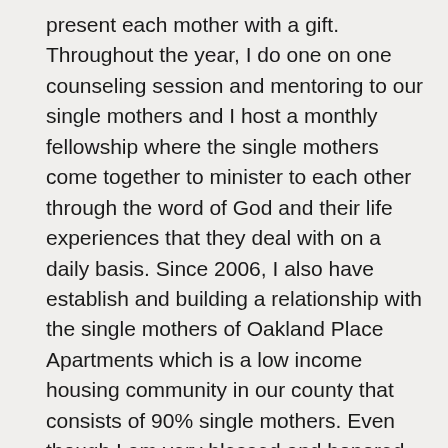present each mother with a gift. Throughout the year, I do one on one counseling session and mentoring to our single mothers and I host a monthly fellowship where the single mothers come together to minister to each other through the word of God and their life experiences that they deal with on a daily basis. Since 2006, I also have establish and building a relationship with the single mothers of Oakland Place Apartments which is a low income housing community in our county that consists of 90% single mothers. Even though I am very blessed and honored that God chose me for the dream, the time has come to expand the dream to where I can provide a facility for mothers for job training, counseling, economical assistance and to further their education. It is my dream for Mom&Me Ministries that we could have a facility in Greenville County to provide services to our single mothers and begin to focus on the children as well